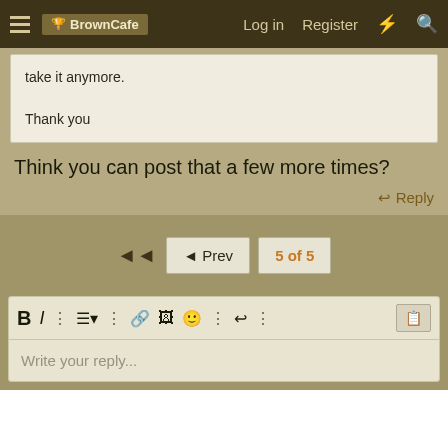BrownCafe  Log in  Register
take it anymore.

Thank you
Think you can post that a few more times?
Reply
◄  ◄ Prev  5 of 5
Write your reply...